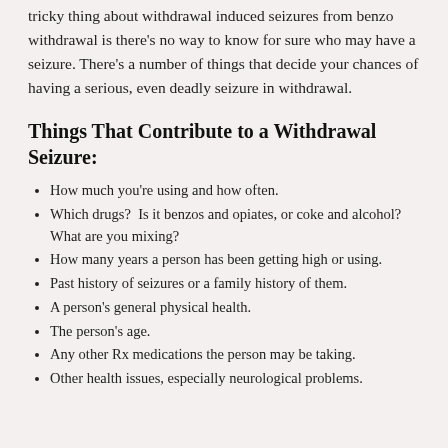tricky thing about withdrawal induced seizures from benzo withdrawal is there's no way to know for sure who may have a seizure. There's a number of things that decide your chances of having a serious, even deadly seizure in withdrawal.
Things That Contribute to a Withdrawal Seizure:
How much you're using and how often.
Which drugs?  Is it benzos and opiates, or coke and alcohol? What are you mixing?
How many years a person has been getting high or using.
Past history of seizures or a family history of them.
A person's general physical health.
The person's age.
Any other Rx medications the person may be taking.
Other health issues, especially neurological problems.